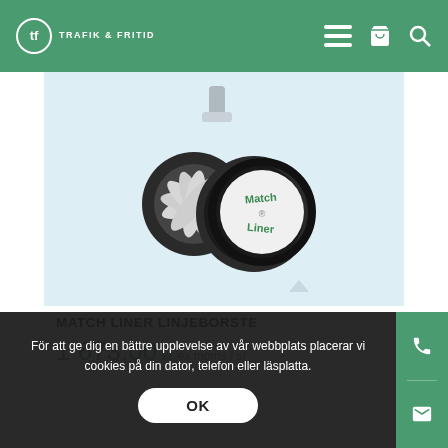TRAFIK & FRITID
[Figure (photo): Match Liner Linjeborste product photo — a line marking brush wheel with black rubber edges and white bristles, branded with 'Match Liner' text on the side, shown at an angle with a metal mount on top]
MATCH LINER LINJEBORSTE
1 673,00 kr ex moms / st
För att ge dig en bättre upplevelse av vår webbplats placerar vi cookies på din dator, telefon eller läsplatta.